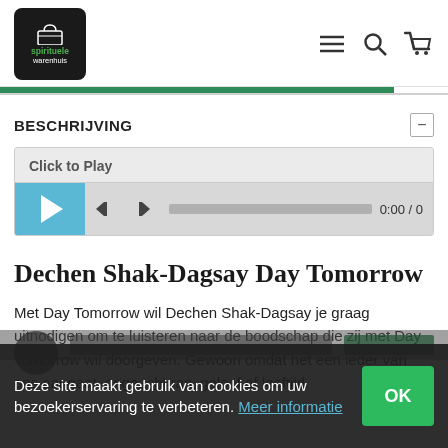[Figure (logo): Het Spirituele Warenhuis logo - black rounded square with basket icon and green text]
BESCHRIJVING
[Figure (screenshot): Audio player with Click to Play label, play button, skip controls, progress bar showing 0:00 / 0]
Dechen Shak-Dagsay Day Tomorrow
Met Day Tomorrow wil Dechen Shak-Dagsay je graag uitnodigen om te luisteren naar de boodschap die zij met Day Tomorrow wil doorgeven. Gewoon omdat het een ieder van ons aangaat, ongeacht ras, geloof of leeftijd.
Deze site maakt gebruik van cookies om uw bezoekerservaring te verbeteren. Meer informatie